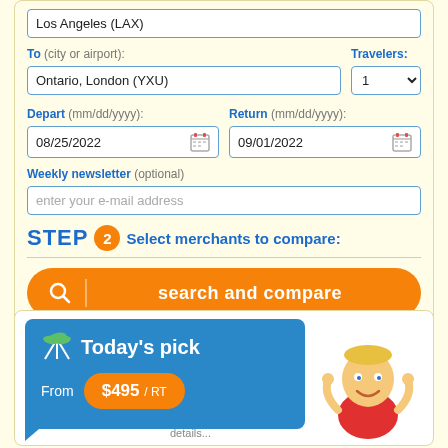Los Angeles (LAX)
To (city or airport):
Ontario, London (YXU)
Travelers: 1
Depart (mm/dd/yyyy): 08/25/2022
Return (mm/dd/yyyy): 09/01/2022
Weekly newsletter (optional) — enter your e-mail address
STEP 2 Select merchants to compare:
search and compare
[Figure (screenshot): Today's pick panel showing price $495 / RT with mascot cartoon character]
Today's pick
From $495 / RT
details...